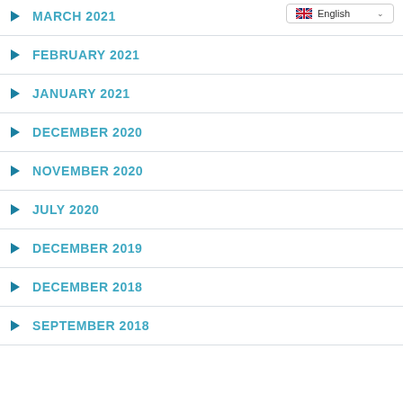MARCH 2021
FEBRUARY 2021
JANUARY 2021
DECEMBER 2020
NOVEMBER 2020
JULY 2020
DECEMBER 2019
DECEMBER 2018
SEPTEMBER 2018